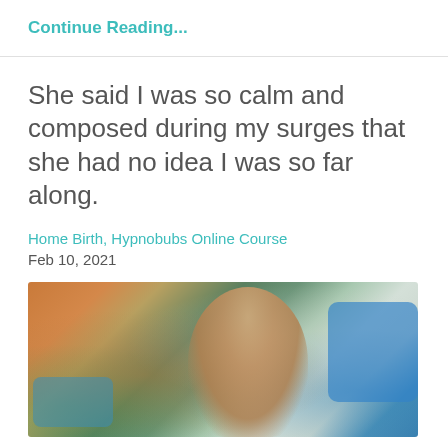Continue Reading...
She said I was so calm and composed during my surges that she had no idea I was so far along.
Home Birth, Hypnobubs Online Course
Feb 10, 2021
[Figure (photo): A woman holding a newborn baby just after birth, attended by medical personnel wearing blue gloves. Scene appears to be a home birth setting.]